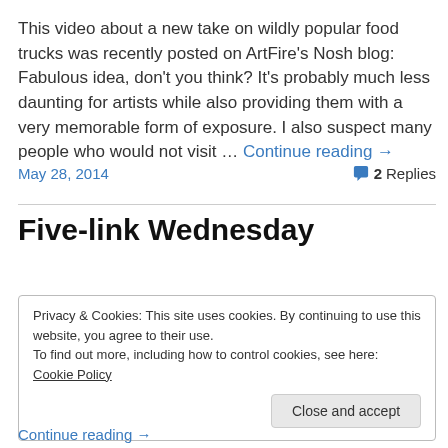This video about a new take on wildly popular food trucks was recently posted on ArtFire's Nosh blog: Fabulous idea, don't you think? It's probably much less daunting for artists while also providing them with a very memorable form of exposure. I also suspect many people who would not visit … Continue reading →
May 28, 2014
2 Replies
Five-link Wednesday
Privacy & Cookies: This site uses cookies. By continuing to use this website, you agree to their use.
To find out more, including how to control cookies, see here: Cookie Policy
Close and accept
Continue reading →